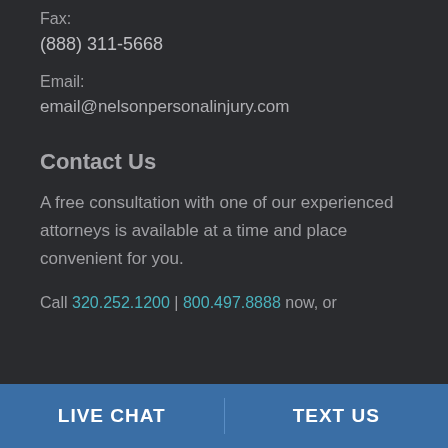Fax:
(888) 311-5668
Email:
email@nelsonpersonalinjury.com
Contact Us
A free consultation with one of our experienced attorneys is available at a time and place convenient for you.
Call 320.252.1200 | 800.497.8888 now, or
LIVE CHAT | TEXT US